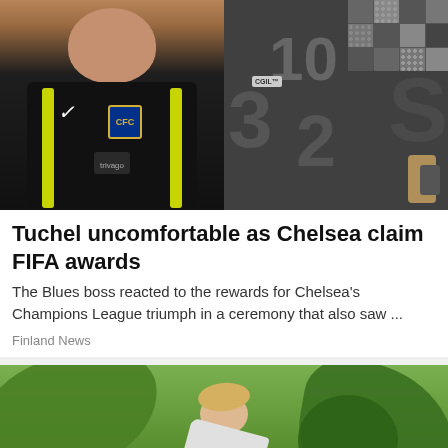[Figure (photo): Split image: left side shows a man smiling wearing a black Chelsea FC Nike jacket with trivago sponsor and yellow stripes; right side shows a dark background with large numbers (10, 3, 2) and a FIFA awards ceremony backdrop with mosaic tiles]
Tuchel uncomfortable as Chelsea claim FIFA awards
The Blues boss reacted to the rewards for Chelsea's Champions League triumph in a ceremony that also saw ...
Finland News
[Figure (photo): A blonde woman in workout clothes doing an exercise outdoors in a lush garden setting with ferns and green plants around her]